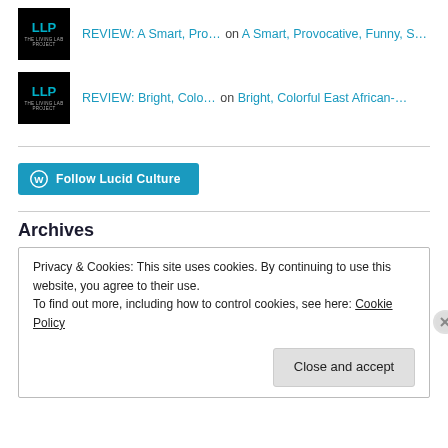REVIEW: A Smart, Pro… on A Smart, Provocative, Funny, S…
REVIEW: Bright, Colo… on Bright, Colorful East African-…
[Figure (other): Follow Lucid Culture button with WordPress icon]
Archives
Privacy & Cookies: This site uses cookies. By continuing to use this website, you agree to their use. To find out more, including how to control cookies, see here: Cookie Policy
Close and accept